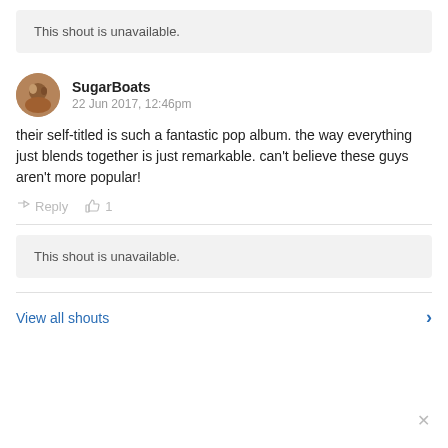This shout is unavailable.
SugarBoats
22 Jun 2017, 12:46pm
their self-titled is such a fantastic pop album. the way everything just blends together is just remarkable. can't believe these guys aren't more popular!
Reply  👍 1
This shout is unavailable.
View all shouts